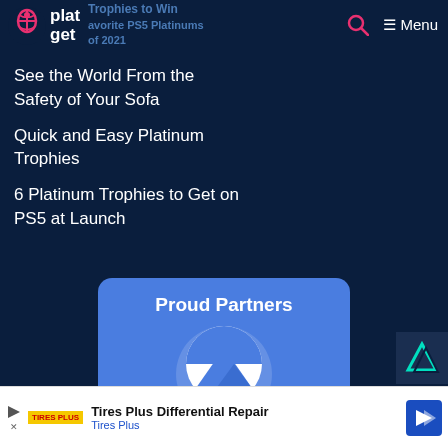PlatGet — Menu
Trophies to Win
Favorite PS5 Platinums of 2021
See the World From the Safety of Your Sofa
Quick and Easy Platinum Trophies
6 Platinum Trophies to Get on PS5 at Launch
[Figure (logo): NordVPN logo with mountain/shield icon inside a blue rounded card labeled Proud Partners]
Proud Partners
NordVPN®
Tires Plus Differential Repair — Tires Plus